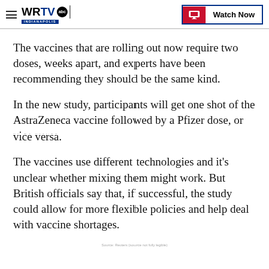WRTV Indianapolis | Watch Now
The vaccines that are rolling out now require two doses, weeks apart, and experts have been recommending they should be the same kind.
In the new study, participants will get one shot of the AstraZeneca vaccine followed by a Pfizer dose, or vice versa.
The vaccines use different technologies and it's unclear whether mixing them might work. But British officials say that, if successful, the study could allow for more flexible policies and help deal with vaccine shortages.
Source: Reuters (source not fully legible)